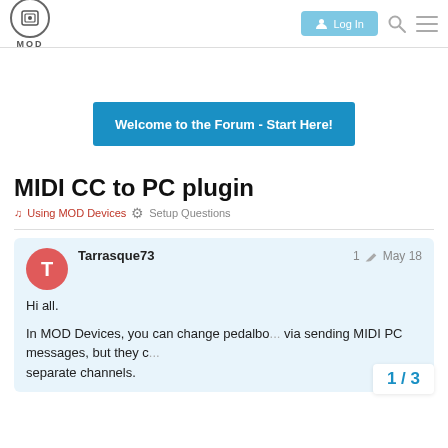MOD logo and navigation bar with Log In button
[Figure (screenshot): MOD forum logo - circular icon with disk/floppy image and MOD text below]
Welcome to the Forum - Start Here!
MIDI CC to PC plugin
Using MOD Devices   Setup Questions
Tarrasque73    1   May 18
Hi all.

In MOD Devices, you can change pedalbo... via sending MIDI PC messages, but they c... separate channels.
1 / 3